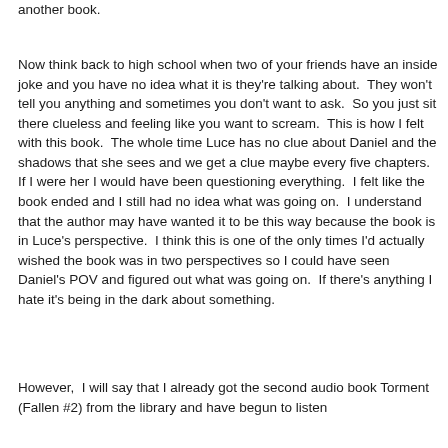another book.
Now think back to high school when two of your friends have an inside joke and you have no idea what it is they're talking about.  They won't tell you anything and sometimes you don't want to ask.  So you just sit there clueless and feeling like you want to scream.  This is how I felt with this book.  The whole time Luce has no clue about Daniel and the shadows that she sees and we get a clue maybe every five chapters.  If I were her I would have been questioning everything.  I felt like the book ended and I still had no idea what was going on.  I understand that the author may have wanted it to be this way because the book is in Luce's perspective.  I think this is one of the only times I'd actually wished the book was in two perspectives so I could have seen Daniel's POV and figured out what was going on.  If there's anything I hate it's being in the dark about something.
However,  I will say that I already got the second audio book Torment (Fallen #2) from the library and have begun to listen